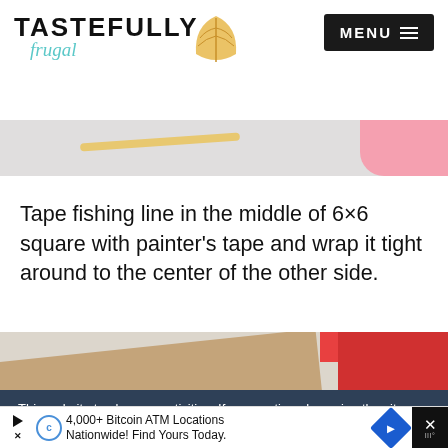TASTEFULLY frugal — MENU
[Figure (photo): Top partial image strip, light gray background with pink element at top right]
Tape fishing line in the middle of 6×6 square with painter's tape and wrap it tight around to the center of the other side.
[Figure (photo): Bottom image strip showing brown kraft paper and red/pink squares on light background]
This website tracks your activities. If you continue browsing the site, you're giving us consent to track your activity.
[Figure (screenshot): Advertisement banner: 4,000+ Bitcoin ATM Locations Nationwide! Find Yours Today.]